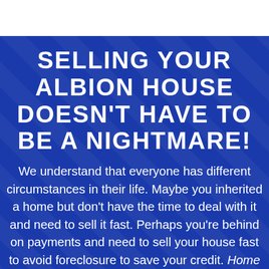SELLING YOUR ALBION HOUSE DOESN'T HAVE TO BE A NIGHTMARE!
We understand that everyone has different circumstances in their life. Maybe you inherited a home but don't have the time to deal with it and need to sell it fast. Perhaps you're behind on payments and need to sell your house fast to avoid foreclosure to save your credit. Home Buyer For Cash is the leading, local company when it comes to buying houses from owners who need to sell today. Not everyone can wait months